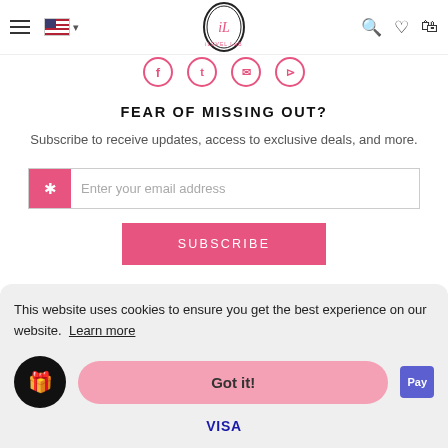iLevel Lab navigation bar with hamburger menu, US flag, logo, search, wishlist, and cart icons
[Figure (illustration): Social media icons row: Facebook, Twitter, Instagram, Pinterest in pink circle outlines]
FEAR OF MISSING OUT?
Subscribe to receive updates, access to exclusive deals, and more.
Enter your email address
SUBSCRIBE
This website uses cookies to ensure you get the best experience on our website. Learn more
Got it!